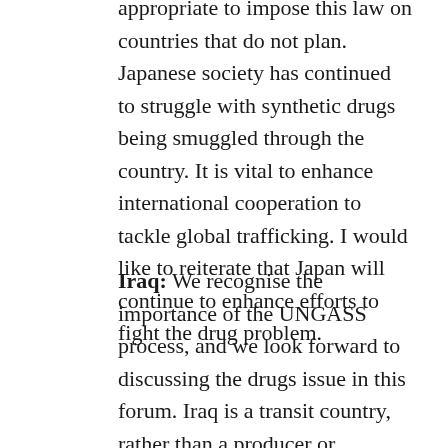appropriate to impose this law on countries that do not plan. Japanese society has continued to struggle with synthetic drugs being smuggled through the country. It is vital to enhance international cooperation to tackle global trafficking. I would like to reiterate that Japan will continue to enhance efforts to fight the drug problem.
Iraq: We recognise the importance of the UNGASS process, and we look forward to discussing the drugs issue in this forum. Iraq is a transit country, rather than a producer or consumer country. However, the health ministry and ministry of the interior has formed a commission to address this issue. We have established a number of centres to provide health and social services for drug